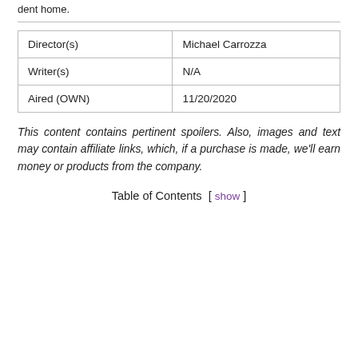dent home.
| Director(s) | Michael Carrozza |
| Writer(s) | N/A |
| Aired (OWN) | 11/20/2020 |
This content contains pertinent spoilers. Also, images and text may contain affiliate links, which, if a purchase is made, we'll earn money or products from the company.
Table of Contents  [ show ]